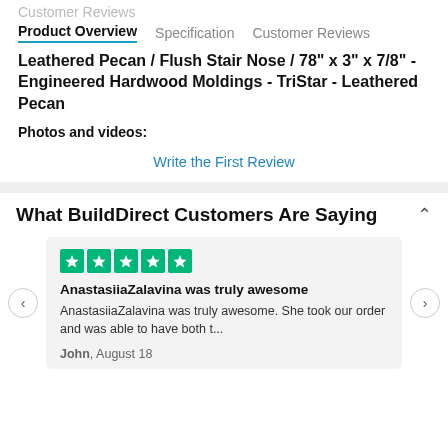Customer Reviews
Product Overview  Specification  Customer Reviews
Leathered Pecan / Flush Stair Nose / 78" x 3" x 7/8" - Engineered Hardwood Moldings - TriStar - Leathered Pecan
Photos and videos:
Write the First Review
What BuildDirect Customers Are Saying
AnastasiiaZalavina was truly awesome
AnastasiiaZalavina was truly awesome. She took our order and was able to have both t...
John, August 18